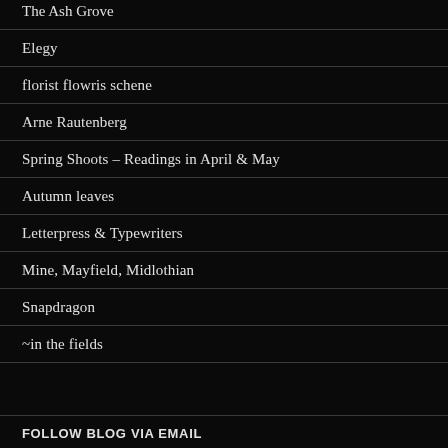The Ash Grove
Elegy
florist flowris schene
Arne Rautenberg
Spring Shoots – Readings in April & May
Autumn leaves
Letterpress & Typewriters
Mine, Mayfield, Midlothian
Snapdragon
~in the fields
FOLLOW BLOG VIA EMAIL